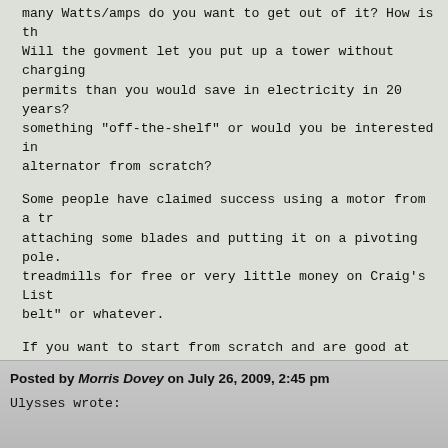many Watts/amps do you want to get out of it?  How is th Will the govment let you put up a tower without charging permits than you would save in electricity in 20 years? something "off-the-shelf" or would you be interested in alternator from scratch?
Some people have claimed success using a motor from a tr attaching some blades and putting it on a pivoting pole. treadmills for free or very little money on Craig's List belt" or whatever.
If you want to start from scratch and are good at buildi might be interested in this: http://www.scoraigwind.com/ but you'd better hurry before someone who doesn't own th it so they can sell it.
I had some success using the permanant magnet alternator eu2000i generator that had a worn-out engine.  Using bla pipe I was able to get a little over 10 amps with it sit pole.  I suspect that if it had better blades on a tall area it would be worthwhile.  http://otherpower.com/blad
Somewhere I have the PVC blades saved but can't seem to
Posted by Morris Dovey on July 26, 2009, 2:45 pm
Ulysses wrote: